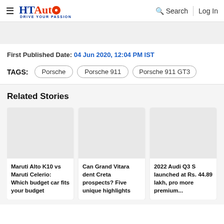HT Auto - Drive Your Passion | Search | Log In
[Figure (other): Gray banner/advertisement placeholder area]
First Published Date: 04 Jun 2020, 12:04 PM IST
TAGS: Porsche | Porsche 911 | Porsche 911 GT3
Related Stories
[Figure (other): Card: Maruti Alto K10 vs Maruti Celerio: Which budget car fits your budget]
[Figure (other): Card: Can Grand Vitara dent Creta prospects? Five unique highlights]
[Figure (other): Card: 2022 Audi Q3 S launched at Rs. 44.89 lakh, pro more premium...]